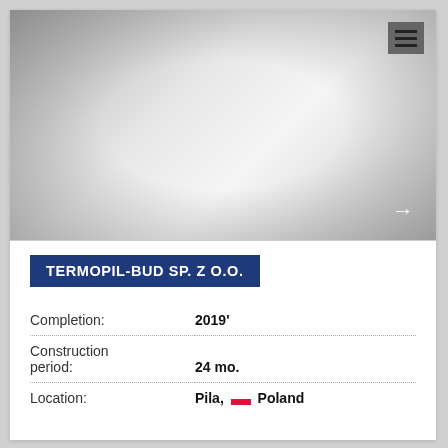[Figure (photo): Blank/placeholder project image area with vignette effect, navigation arrow and menu icon]
TERMOPIL-BUD SP. Z O.O.
Completion: 2019'
Construction period: 24 mo.
Location: Pila, Poland